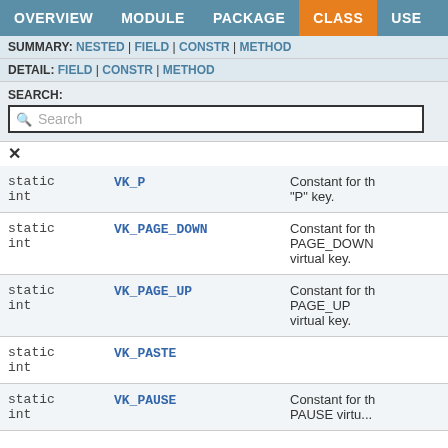OVERVIEW  MODULE  PACKAGE  CLASS  USE  TREE
SUMMARY: NESTED | FIELD | CONSTR | METHOD
DETAIL: FIELD | CONSTR | METHOD
SEARCH:
| Modifier and Type | Field | Description |
| --- | --- | --- |
| static int | VK_P | Constant for the "P" key. |
| static int | VK_PAGE_DOWN | Constant for the PAGE_DOWN virtual key. |
| static int | VK_PAGE_UP | Constant for the PAGE_UP virtual key. |
| static int | VK_PASTE |  |
| static int | VK_PAUSE | Constant for the PAUSE virtual... |